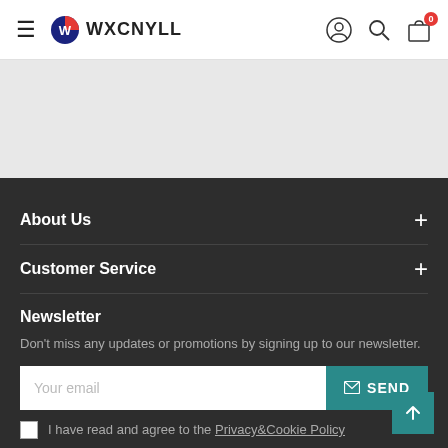WXCNYLL
About Us
Customer Service
Newsletter
Don't miss any updates or promotions by signing up to our newsletter.
Your email
SEND
I have read and agree to the Privacy&Cookie Policy